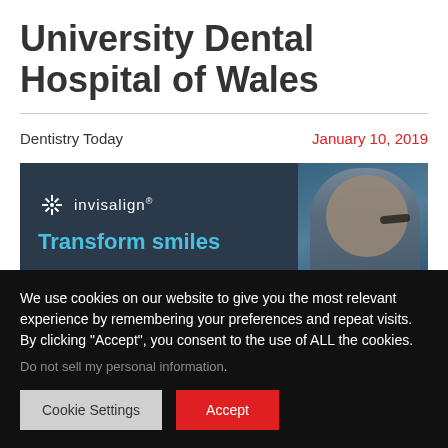University Dental Hospital of Wales
Dentistry Today
January 10, 2019
[Figure (photo): Invisalign advertisement banner with 'Transform smiles' text and a person wearing glasses on a dark blue background]
We use cookies on our website to give you the most relevant experience by remembering your preferences and repeat visits. By clicking “Accept”, you consent to the use of ALL the cookies.
Do not sell my personal information.
Cookie Settings
Accept